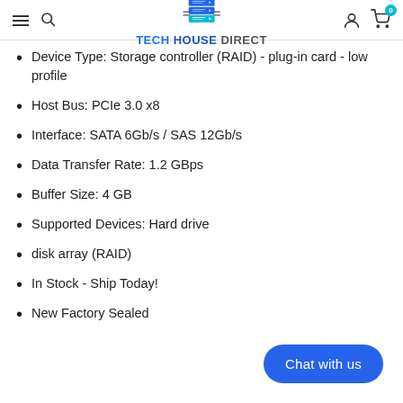TECH HOUSE DIRECT
Device Type: Storage controller (RAID) - plug-in card - low profile
Host Bus: PCIe 3.0 x8
Interface: SATA 6Gb/s / SAS 12Gb/s
Data Transfer Rate: 1.2 GBps
Buffer Size: 4 GB
Supported Devices: Hard drive
disk array (RAID)
In Stock - Ship Today!
New Factory Sealed